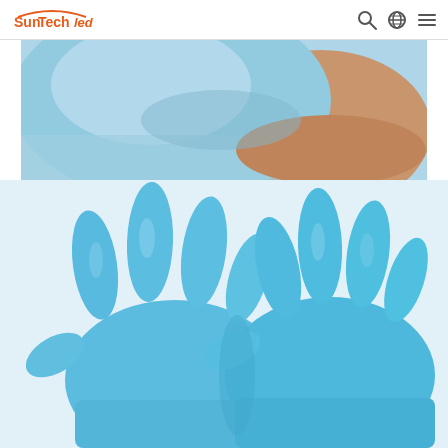SunTechLed
[Figure (photo): Close-up of a person wearing a light blue nitrile glove, showing the forearm and shoulder area with the glove rolled up on the arm.]
[Figure (photo): Two blue nitrile disposable gloves laid flat, showing the front side with fingers spread, displayed against a white background.]